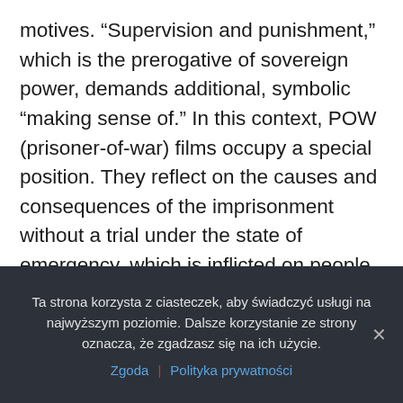motives. “Supervision and punishment,” which is the prerogative of sovereign power, demands additional, symbolic “making sense of.” In this context, POW (prisoner-of-war) films occupy a special position. They reflect on the causes and consequences of the imprisonment without a trial under the state of emergency, which is inflicted on people who are innocent under civil and criminal law. It is not without a reason that Le Grande Illusion (1937) by Renoir, a model prisoner-of-war film, in a metaphorical way illustrates the crisis of the concept of freedom in the modern world. Drawing from this ultimate model,
Ta strona korzysta z ciasteczek, aby świadczyć usługi na najwyższym poziomie. Dalsze korzystanie ze strony oznacza, że zgadzasz się na ich użycie.
Zgoda  Polityka prywatności